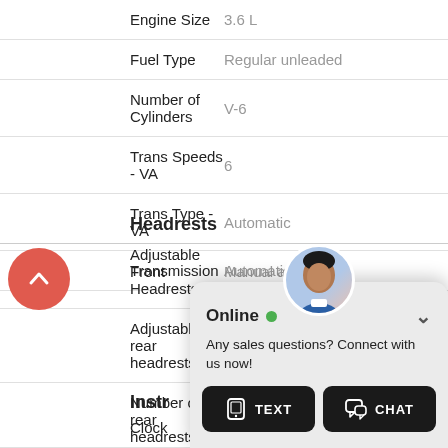| Attribute | Value |
| --- | --- |
| Engine Size | 3.6 L |
| Fuel Type | Regular unleaded |
| Number of Cylinders | V-6 |
| Trans Speeds - VA | 6 |
| Trans Type - VA | Automatic |
| Transmission | Automatic |
Headrests
| Attribute | Value |
| --- | --- |
| Adjustable Front Headrests | Manual adjustable |
| Adjustable rear headrests | Foldable |
| Number of rear headrests | 3 |
Instr...
| Attribute | Value |
| --- | --- |
| Clock... |  |
| Comp... |  |
| Exter... | ature |
| Low f... |  |
[Figure (screenshot): Online chat widget overlay with avatar of a man, Online status indicator (green dot), message 'Any sales questions? Connect with us now!', and two black buttons labeled TEXT and CHAT]